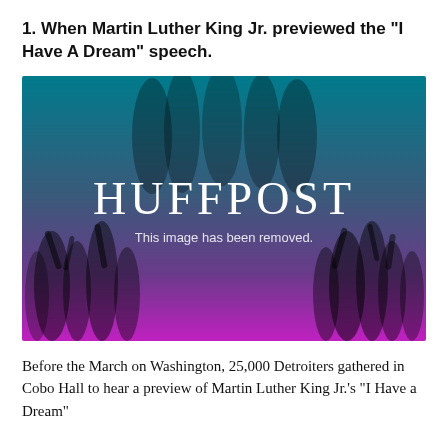1. When Martin Luther King Jr. previewed the "I Have A Dream" speech.
[Figure (photo): HuffPost placeholder image with teal-to-purple gradient overlay showing silhouettes of a crowd. White text reads 'HUFFPOST' and below it 'This image has been removed.']
Before the March on Washington, 25,000 Detroiters gathered in Cobo Hall to hear a preview of Martin Luther King Jr.'s "I Have a Dream"